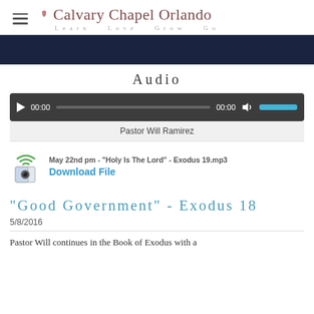Calvary Chapel Orlando — Learn Love Grow Go
[Figure (screenshot): Dark navy video thumbnail/player bar]
Audio
[Figure (screenshot): Audio player with play button, 00:00 time displays, progress bar, volume control in teal]
Pastor Will Ramirez
May 22nd pm - "Holy Is The Lord" - Exodus 19.mp3
Download File
"Good Government" - Exodus 18
5/8/2016
Pastor Will continues in the Book of Exodus with a